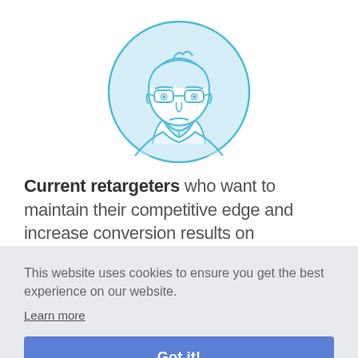[Figure (illustration): Line-art illustration of a man with glasses and a neutral/frowning expression, inside a light blue circular frame. The figure is drawn in a minimal flat style with teal/cyan outlines.]
Current retargeters who want to maintain their competitive edge and increase conversion results on
This website uses cookies to ensure you get the best experience on our website.
Learn more
Got it!